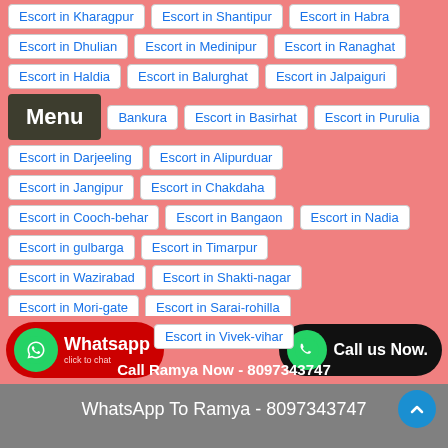Escort in Kharagpur | Escort in Shantipur | Escort in Habra
Escort in Dhulian | Escort in Medinipur | Escort in Ranaghat
Escort in Halda | Escort in Balurghat | Escort in Jalpaiguri
Menu | Bankura | Escort in Basirhat | Escort in Purulia
Escort in Darjeeling | Escort in Alipurduar
Escort in Jangipur | Escort in Chakdaha
Escort in Cooch-behar | Escort in Bangaon | Escort in Nadia
Escort in gulbarga | Escort in Timarpur
Escort in Wazirabad | Escort in Shakti-nagar
Escort in Mori-gate | Escort in Sarai-rohilla
Escort in Kotwali | Escort in Gulabi-bagh
Escort in Kamla-nagar | Escort in Yamuna-vihar
Escort in Vivek-vihar
Whatsapp click to chat | Call us Now.
Call Ramya Now - 8097343747
WhatsApp To Ramya - 8097343747